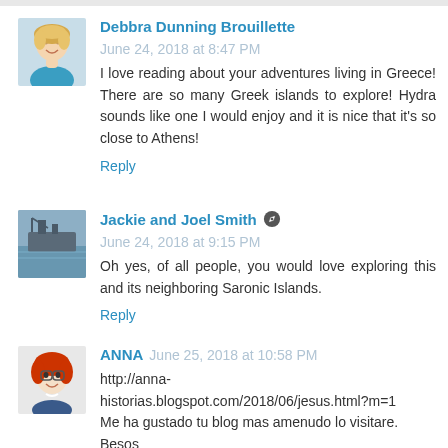Debbra Dunning Brouillette  June 24, 2018 at 8:47 PM
I love reading about your adventures living in Greece! There are so many Greek islands to explore! Hydra sounds like one I would enjoy and it is nice that it's so close to Athens!
Reply
Jackie and Joel Smith  June 24, 2018 at 9:15 PM
Oh yes, of all people, you would love exploring this and its neighboring Saronic Islands.
Reply
ANNA  June 25, 2018 at 10:58 PM
http://anna-historias.blogspot.com/2018/06/jesus.html?m=1
Me ha gustado tu blog mas amenudo lo visitare.
Besos